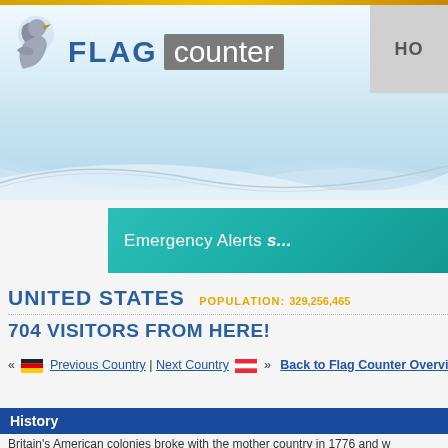FLAG counter — HO
[Figure (logo): Flag Counter logo with bird icon, FLAG in blue bold and 'counter' in gray box]
[Figure (infographic): Emergency Alerts banner in teal/turquoise color with white text 'Emergency Alerts s...']
UNITED STATES  POPULATION: 329,256,465
704 VISITORS FROM HERE!
« [Germany flag] Previous Country | Next Country [Austria flag] »  Back to Flag Counter Overview
History
Britain's American colonies broke with the mother country in 1776 and w... Treaty of Paris in 1783. During the 19th and 20th centuries, 37 new state...